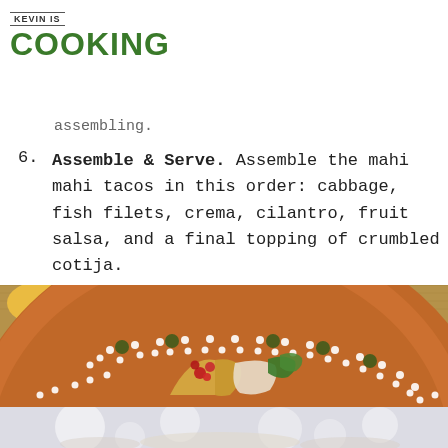KEVIN IS COOKING
assembling.
6. Assemble & Serve. Assemble the mahi mahi tacos in this order: cabbage, fish filets, crema, cilantro, fruit salsa, and a final topping of crumbled cotija.
[Figure (photo): A terracotta Mexican decorative plate with white dot patterns and dark green dot accents, holding mahi mahi tacos with visible toppings including fish, vegetables, and colorful fruit salsa. A woven mat background is visible.]
[Figure (photo): Bottom portion of another food photo showing a blurred light-colored dish on a pale background.]